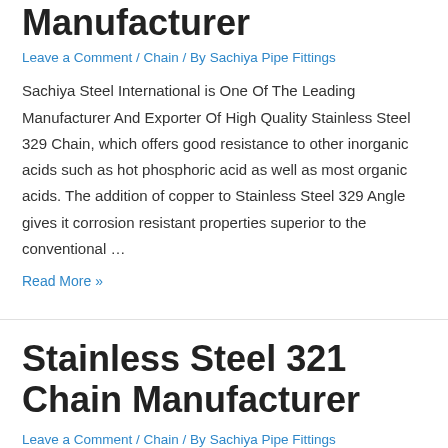Manufacturer
Leave a Comment / Chain / By Sachiya Pipe Fittings
Sachiya Steel International is One Of The Leading Manufacturer And Exporter Of High Quality Stainless Steel 329 Chain, which offers good resistance to other inorganic acids such as hot phosphoric acid as well as most organic acids. The addition of copper to Stainless Steel 329 Angle gives it corrosion resistant properties superior to the conventional …
Read More »
Stainless Steel 321 Chain Manufacturer
Leave a Comment / Chain / By Sachiya Pipe Fittings
Sachiya Steel International is One Of The Leading Manufacturer